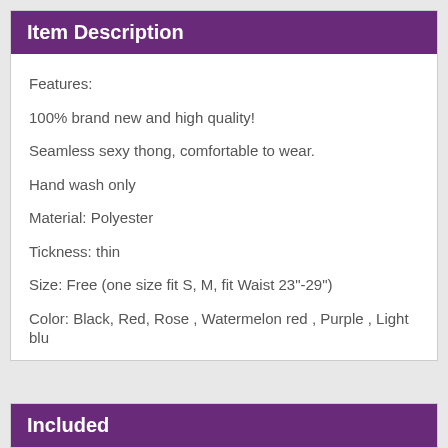Item Description
Features:
100% brand new and high quality!
Seamless sexy thong, comfortable to wear.
Hand wash only
Material: Polyester
Tickness: thin
Size: Free (one size fit S, M, fit Waist 23"-29")
Color: Black, Red, Rose , Watermelon red , Purple , Light blu
Included